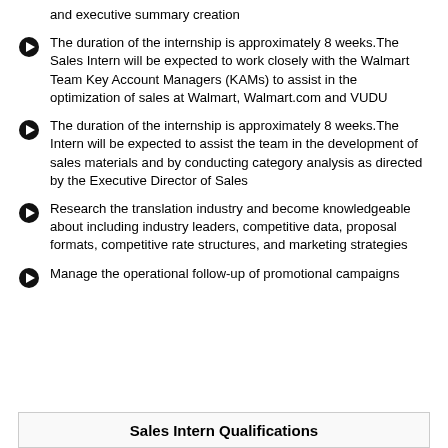and executive summary creation
The duration of the internship is approximately 8 weeks.The Sales Intern will be expected to work closely with the Walmart Team Key Account Managers (KAMs) to assist in the optimization of sales at Walmart, Walmart.com and VUDU
The duration of the internship is approximately 8 weeks.The Intern will be expected to assist the team in the development of sales materials and by conducting category analysis as directed by the Executive Director of Sales
Research the translation industry and become knowledgeable about including industry leaders, competitive data, proposal formats, competitive rate structures, and marketing strategies
Manage the operational follow-up of promotional campaigns
Sales Intern Qualifications